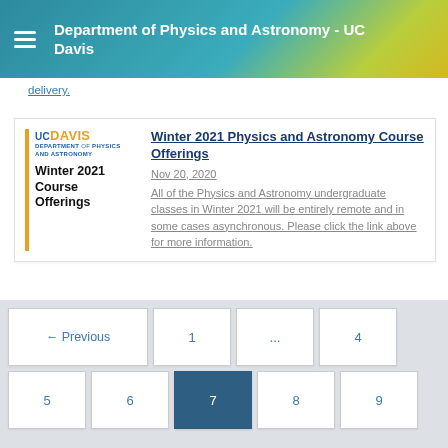Department of Physics and Astronomy - UC Davis
delivery.
[Figure (logo): UC Davis Department of Physics and Astronomy logo with Winter 2021 Course Offerings text]
Winter 2021 Physics and Astronomy Course Offerings
Nov 20, 2020
All of the Physics and Astronomy undergraduate classes in Winter 2021 will be entirely remote and in some cases asynchronous. Please click the link above for more information.
← Previous  1  ...  4  5  6  7  8  9